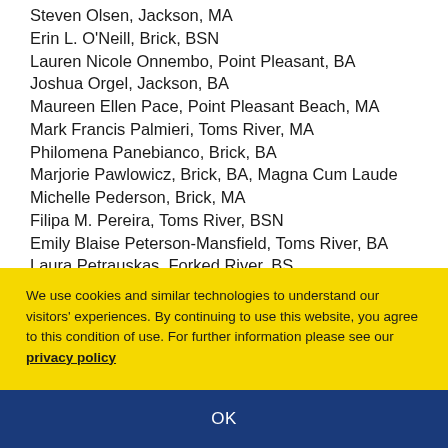Steven Olsen, Jackson, MA
Erin L. O'Neill, Brick, BSN
Lauren Nicole Onnembo, Point Pleasant, BA
Joshua Orgel, Jackson, BA
Maureen Ellen Pace, Point Pleasant Beach, MA
Mark Francis Palmieri, Toms River, MA
Philomena Panebianco, Brick, BA
Marjorie Pawlowicz, Brick, BA, Magna Cum Laude
Michelle Pederson, Brick, MA
Filipa M. Pereira, Toms River, BSN
Emily Blaise Peterson-Mansfield, Toms River, BA
Laura Petrauskas, Forked River, BS
Erika Lynn Potteron, Bayville, MA
We use cookies and similar technologies to understand our visitors' experiences. By continuing to use this website, you agree to this condition of use. For further information please see our privacy policy